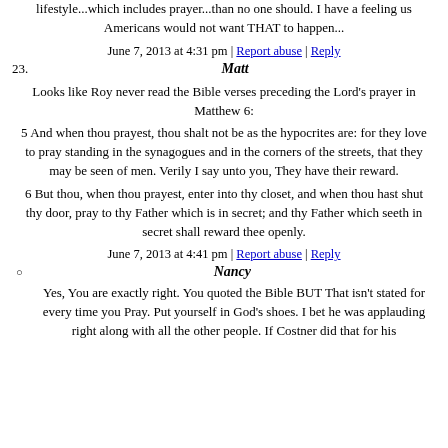lifestyle...which includes prayer...than no one should. I have a feeling us Americans would not want THAT to happen...
June 7, 2013 at 4:31 pm | Report abuse | Reply
23. Matt
Looks like Roy never read the Bible verses preceding the Lord's prayer in Matthew 6:
5 And when thou prayest, thou shalt not be as the hypocrites are: for they love to pray standing in the synagogues and in the corners of the streets, that they may be seen of men. Verily I say unto you, They have their reward.
6 But thou, when thou prayest, enter into thy closet, and when thou hast shut thy door, pray to thy Father which is in secret; and thy Father which seeth in secret shall reward thee openly.
June 7, 2013 at 4:41 pm | Report abuse | Reply
Nancy
Yes, You are exactly right. You quoted the Bible BUT That isn't stated for every time you Pray. Put yourself in God's shoes. I bet he was applauding right along with all the other people. If Costner did that for his